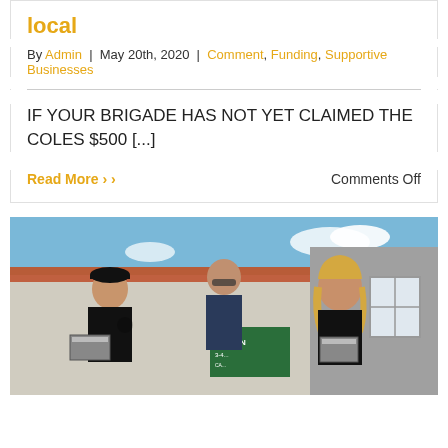local
By Admin | May 20th, 2020 | Comment, Funding, Supportive Businesses
IF YOUR BRIGADE HAS NOT YET CLAIMED THE COLES $500 [...]
Read More >
Comments Off
[Figure (photo): Three people standing outside a building. A person on the left wears a black cap and black shirt holding a box, a person in the middle wears a dark polo shirt with a badge, and a person on the right has blonde hair and wears a dark shirt also holding a box. There is a sign that says OPEN and a red-tiled roof building in the background.]